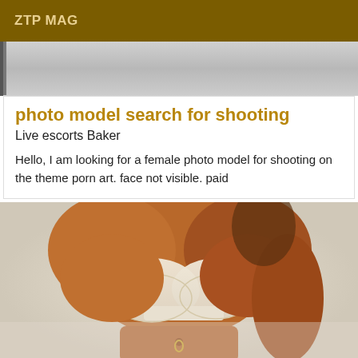ZTP MAG
[Figure (photo): Partial blurred photo, gray tones, top portion of image]
photo model search for shooting
Live escorts Baker
Hello, I am looking for a female photo model for shooting on the theme porn art. face not visible. paid
[Figure (photo): Close-up photo of a person wearing a white lace bra, tanned skin, blurred background]